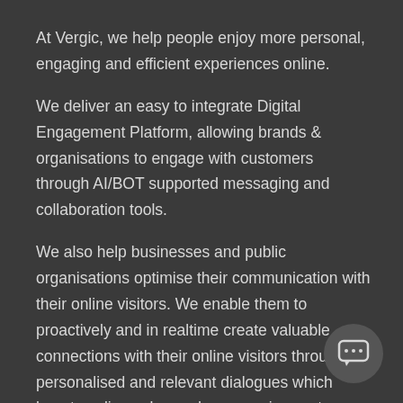At Vergic, we help people enjoy more personal, engaging and efficient experiences online.
We deliver an easy to integrate Digital Engagement Platform, allowing brands & organisations to engage with customers through AI/BOT supported messaging and collaboration tools.
We also help businesses and public organisations optimise their communication with their online visitors. We enable them to proactively and in realtime create valuable connections with their online visitors through personalised and relevant dialogues which boosts online sales, reduces service costs, increases customer satisfaction and exceeds the customer's expectati…
[Figure (illustration): Chat bubble icon in bottom-right corner]